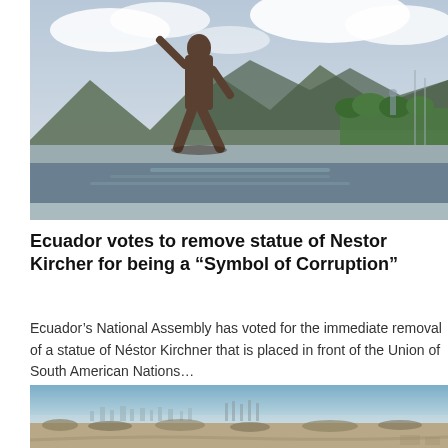[Figure (photo): Bronze statue of a person walking, with mountains, trees, and a reflective pool visible in the background under a cloudy sky.]
Ecuador votes to remove statue of Nestor Kircher for being a “Symbol of Corruption”
Ecuador’s National Assembly has voted for the immediate removal of a statue of Néstor Kirchner that is placed in front of the Union of South American Nations…
[Figure (photo): Wide landscape photo showing a dry, flat terrain with sparse low vegetation, a city skyline visible in the distant background under a hazy blue sky.]